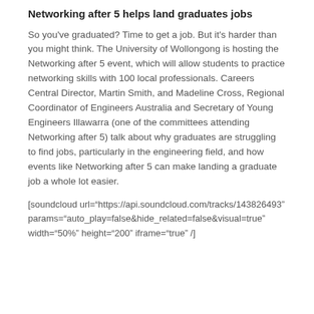Networking after 5 helps land graduates jobs
So you've graduated? Time to get a job. But it's harder than you might think. The University of Wollongong is hosting the Networking after 5 event, which will allow students to practice networking skills with 100 local professionals. Careers Central Director, Martin Smith, and Madeline Cross, Regional Coordinator of Engineers Australia and Secretary of Young Engineers Illawarra (one of the committees attending Networking after 5) talk about why graduates are struggling to find jobs, particularly in the engineering field, and how events like Networking after 5 can make landing a graduate job a whole lot easier.
[soundcloud url="https://api.soundcloud.com/tracks/143826493" params="auto_play=false&hide_related=false&visual=true" width="50%" height="200" iframe="true" /]